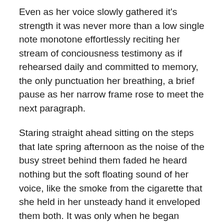Even as her voice slowly gathered it's strength it was never more than a low single note monotone effortlessly reciting her stream of conciousness testimony as if rehearsed daily and committed to memory, the only punctuation her breathing, a brief pause as her narrow frame rose to meet the next paragraph.
Staring straight ahead sitting on the steps that late spring afternoon as the noise of the busy street behind them faded he heard nothing but the soft floating sound of her voice, like the smoke from the cigarette that she held in her unsteady hand it enveloped them both. It was only when he began focusing on the drawing, the twisted bodies and anguished expressions represented in painful detail did he emerge from his own trance and begin to hear her words.